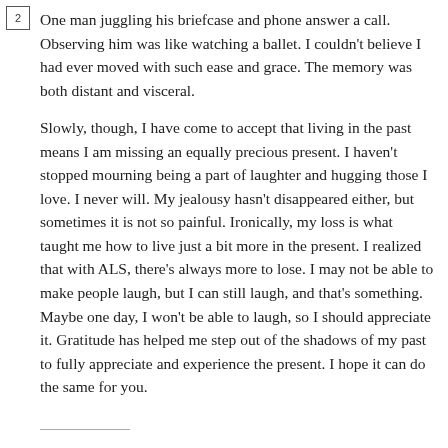2
One man juggling his briefcase and phone answer a call. Observing him was like watching a ballet. I couldn't believe I had ever moved with such ease and grace. The memory was both distant and visceral.
Slowly, though, I have come to accept that living in the past means I am missing an equally precious present. I haven't stopped mourning being a part of laughter and hugging those I love. I never will. My jealousy hasn't disappeared either, but sometimes it is not so painful. Ironically, my loss is what taught me how to live just a bit more in the present. I realized that with ALS, there's always more to lose. I may not be able to make people laugh, but I can still laugh, and that's something. Maybe one day, I won't be able to laugh, so I should appreciate it. Gratitude has helped me step out of the shadows of my past to fully appreciate and experience the present. I hope it can do the same for you.